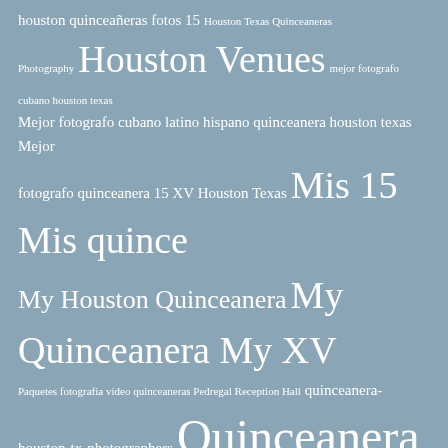[Figure (infographic): Tag cloud of quinceañera-related search terms in various font sizes on a steel-blue background. Larger text indicates more popular/frequent terms.]